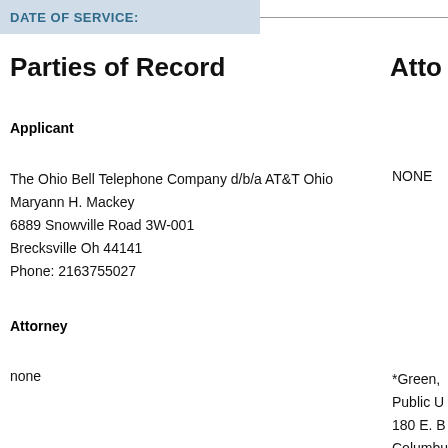DATE OF SERVICE:
Parties of Record
Atto
Applicant
The Ohio Bell Telephone Company d/b/a AT&T Ohio
Maryann H. Mackey
6889 Snowville Road 3W-001
Brecksville Oh 44141
Phone: 2163755027
NONE
Attorney
none
*Green,
Public U
180 E. B
Columbu
Phone: 6